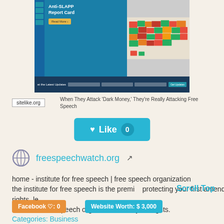[Figure (screenshot): Screenshot of Anti-SLAPP Report Card webpage showing a US map with colored states and a newsletter signup bar at the bottom]
sitelike.org
When They Attack 'Dark Money,' They're Really Attacking Free Speech
[Figure (other): Like button with heart icon showing count of 0]
freespeechwatch.org
home - institute for free speech | free speech organization
the institute for free speech is the premi... protecting your first amendment rights. le... about our free speech organization and your rights.
Scroll Top
Facebook ♡: 0
Website Worth: $ 3,000
Categories: Business